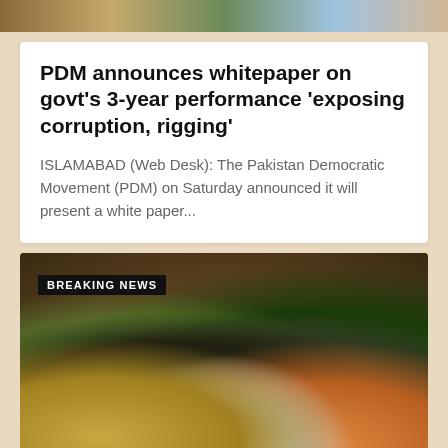[Figure (photo): Top strip showing partial news images banner]
PDM announces whitepaper on govt's 3-year performance 'exposing corruption, rigging'
ISLAMABAD (Web Desk): The Pakistan Democratic Movement (PDM) on Saturday announced it will present a white paper...
[Figure (photo): Breaking news video still showing women in a crowd, one wearing green clothing, with a 'BREAKING NEWS' chyron overlay]